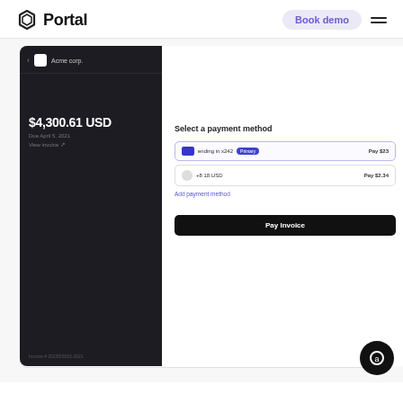Portal | Book demo
[Figure (screenshot): Portal web application screenshot showing an invoice payment interface. Left dark panel shows $4,300.61 USD invoice amount due Apr 5, 2021 for Acme Corp. Right panel shows 'Select a payment method' with two payment options and a 'Pay Invoice' button.]